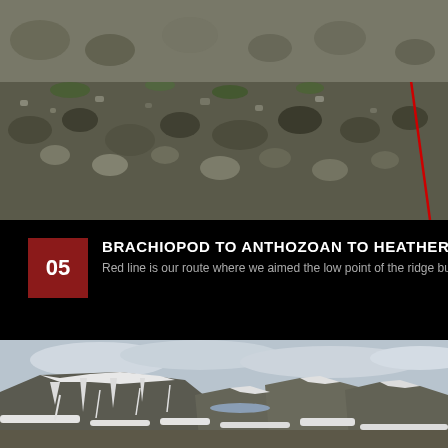[Figure (photo): Rocky scree slope with sparse vegetation and a red diagonal line marking a route on the right side of the image]
05 BRACHIOPOD TO ANTHOZOAN TO HEATHER | 2010-07-03
Red line is our route where we aimed the low point of the ridge but had to...
[Figure (photo): Panoramic mountain landscape with snow-covered slopes, flat-topped mountains in the background, and a partly cloudy sky]